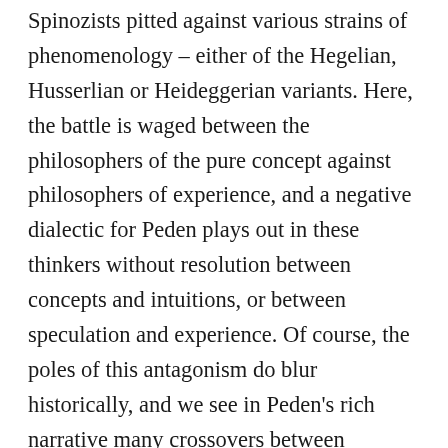Spinozists pitted against various strains of phenomenology – either of the Hegelian, Husserlian or Heideggerian variants. Here, the battle is waged between the philosophers of the pure concept against philosophers of experience, and a negative dialectic for Peden plays out in these thinkers without resolution between concepts and intuitions, or between speculation and experience. Of course, the poles of this antagonism do blur historically, and we see in Peden's rich narrative many crossovers between rationalism and phenomenology. This is particularly so in the cases of Gilles Deleuze and the less wellknown Jean-Toussaint Desanti. But such cases of blurring do not avoid the fundamental antagonism of concepts and experience posited by Peden. Indeed, a presupposed gap between concepts and experience